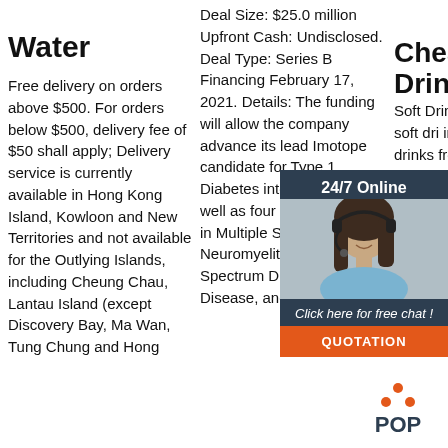Water
Free delivery on orders above $500. For orders below $500, delivery fee of $50 shall apply; Delivery service is currently available in Hong Kong Island, Kowloon and New Territories and not available for the Outlying Islands, including Cheung Chau, Lantau Island (except Discovery Bay, Ma Wan, Tung Chung and Hong
Deal Size: $25.0 million Upfront Cash: Undisclosed. Deal Type: Series B Financing February 17, 2021. Details: The funding will allow the company advance its lead Imotope candidate for Type 1 Diabetes into phase 2 as well as four other programs in Multiple Sclerosis, Neuromyelitis Optica Spectrum Disorders, Celiac Disease, and
Cheap Drinks
Soft Drinks. Pick up bud soft dri includi squash drinks from to B&M. W you're Coca-C Schwe Tango, Up or Sprite, or you're on the lookout for sparkling, still p tonic water, you'll find all of these products and
[Figure (photo): Chat widget overlay showing a woman with headset, 24/7 Online label, Click here for free chat text, and QUOTATION orange button]
[Figure (logo): POP logo with orange dots arranged as a triangle above the word POP]